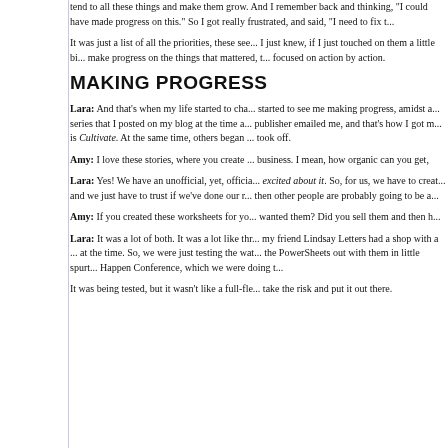tend to all these things and make them grow. And I remember back and thinking, "I could have made progress on this." So I got really frustrated, and said, "I need to fix this."
It was just a list of all the priorities, these seeds in life, I just knew, if I just touched on them a little bit, I could make progress on the things that mattered, the list just focused on action by action.
MAKING PROGRESS
Lara: And that's when my life started to change. People started to see me making progress, amidst a goal-setting series that I posted on my blog at the time and then a publisher emailed me, and that's how I got my book which is Cultivate. At the same time, others began to... it just took off.
Amy: I love these stories, where you create content for your business. I mean, how organic can you get,
Lara: Yes! We have an unofficial, yet, official motto: we are excited about it. So, for us, we have to create what we love and we just have to trust if we've done our research... then other people are probably going to be a...
Amy: If you created these worksheets for yourself, people wanted them? Did you sell them and then ho...
Lara: It was a lot of both. It was a lot like through, like my friend Lindsay Letters had a shop with a lot of traction at the time. So, we were just testing the waters, putting the PowerSheets out with them in little spurts, like the Make it Happen Conference, which we were doing t...
It was being tested, but it wasn't like a full-fledged... to take the risk and put it out there.